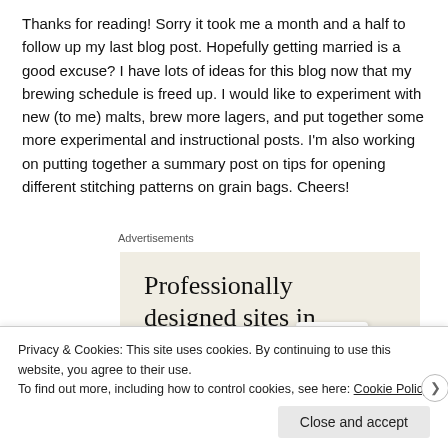Thanks for reading! Sorry it took me a month and a half to follow up my last blog post. Hopefully getting married is a good excuse? I have lots of ideas for this blog now that my brewing schedule is freed up. I would like to experiment with new (to me) malts, brew more lagers, and put together some more experimental and instructional posts. I'm also working on putting together a summary post on tips for opening different stitching patterns on grain bags. Cheers!
Advertisements
[Figure (other): Advertisement banner with beige/cream background showing text 'Professionally designed sites in less than a week', a dark green horizontal bar, and a card with the letter A logo on the right side.]
Privacy & Cookies: This site uses cookies. By continuing to use this website, you agree to their use.
To find out more, including how to control cookies, see here: Cookie Policy
Close and accept